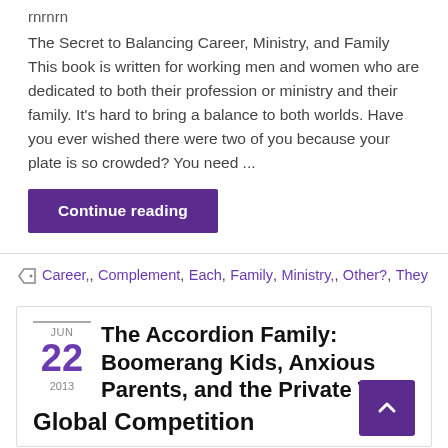rnrnrn
The Secret to Balancing Career, Ministry, and Family This book is written for working men and women who are dedicated to both their profession or ministry and their family. It's hard to bring a balance to both worlds. Have you ever wished there were two of you because your plate is so crowded? You need ...
Continue reading
Career,, Complement, Each, Family, Ministry,, Other?, They
The Accordion Family: Boomerang Kids, Anxious Parents, and the Private Toll Global Competition
JUN 22 2013